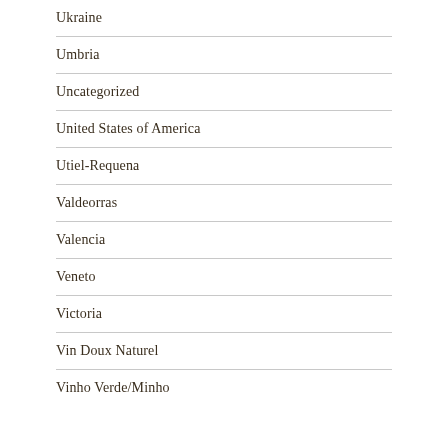Ukraine
Umbria
Uncategorized
United States of America
Utiel-Requena
Valdeorras
Valencia
Veneto
Victoria
Vin Doux Naturel
Vinho Verde/Minho